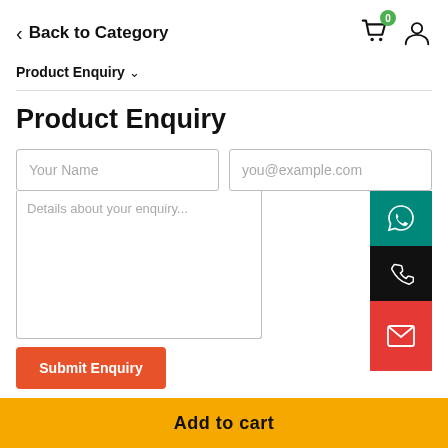Back to Category
Product Enquiry
Product Enquiry
Your Name
you@example.com
Details about your enquiry...
Submit Enquiry
Add to cart